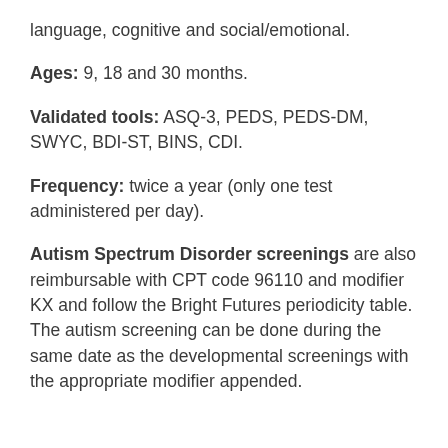language, cognitive and social/emotional.
Ages: 9, 18 and 30 months.
Validated tools: ASQ-3, PEDS, PEDS-DM, SWYC, BDI-ST, BINS, CDI.
Frequency: twice a year (only one test administered per day).
Autism Spectrum Disorder screenings are also reimbursable with CPT code 96110 and modifier KX and follow the Bright Futures periodicity table. The autism screening can be done during the same date as the developmental screenings with the appropriate modifier appended.